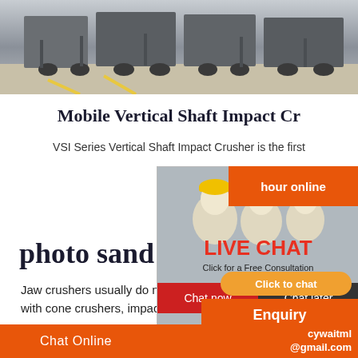[Figure (photo): Industrial equipment/trucks in a factory or yard setting, top banner photo]
Mobile Vertical Shaft Impact Cr
VSI Series Vertical Shaft Impact Crusher is the first
[Figure (photo): Live Chat popup overlay with workers in hard hats and a customer service agent with headset. Buttons: Chat now, Chat later, Click to chat. Text: LIVE CHAT, Click for a Free Consultation]
photo sand crus
Jaw crushers usually do not work independen... with cone crushers, impact crushers, sand ma...
Chat Online   cywaitml @gmail.com   hour online   Enquiry